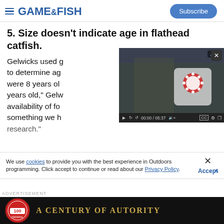GAME&FISH — Subscribe
5. Size doesn't indicate age in flathead catfish.
Gelwicks used growth rings in pectoral fin rays to determine age. "Some small fish were 8 years old and some big fish were 8 years old," Gelwicks noted. "It depends on the availability of food and other things. It's something we have to look at in our research."
[Figure (screenshot): Embedded video player titled 'Snack Smart to Stay Sharp in the Hunt Stand', showing a person in camouflage holding a snack bag. Duration shown: 00:00 / 05:37. Controls include play, rewind, forward, mute, captions, settings, and fullscreen buttons.]
We use cookies to provide you with the best experience in Outdoors programming. Click accept to continue or read about our Privacy Policy.
Advertisement
[Figure (logo): Federal ammunition 100 year anniversary logo and banner reading 'A CENTURY OF AUTORITY']